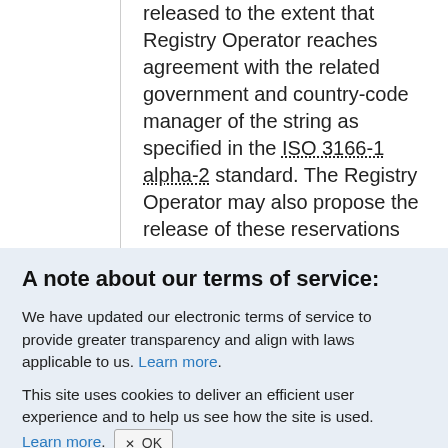released to the extent that Registry Operator reaches agreement with the related government and country-code manager of the string as specified in the ISO 3166-1 alpha-2 standard. The Registry Operator may also propose the release of these reservations based on its implementation of measures to avoid confusion with the corresponding
A note about our terms of service:
We have updated our electronic terms of service to provide greater transparency and align with laws applicable to us. Learn more.
This site uses cookies to deliver an efficient user experience and to help us see how the site is used. Learn more.  OK